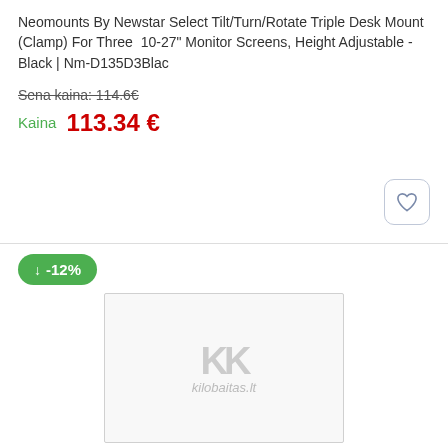Neomounts By Newstar Select Tilt/Turn/Rotate Triple Desk Mount (Clamp) For Three 10-27" Monitor Screens, Height Adjustable - Black | Nm-D135D3Blac
Sena kaina: 114.6€
Kaina  113.34 €
[Figure (logo): kilobaitas.lt logo placeholder with KK letters]
Neomounts By Newstar Select Tv/Monitor Ceiling Mount For Dual 32"-60" Screens (Back To Back), Max. Weight: 25 Kg (Per Screen), Height Adjustable - Black | Nm-C440Dblack
Sena kaina: 154.04€